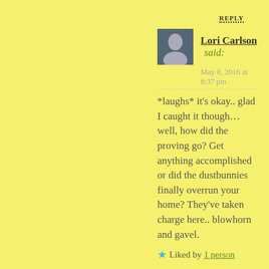REPLY
Lori Carlson said:
May 8, 2016 at 8:37 pm
*laughs* it's okay.. glad I caught it though… well, how did the proving go? Get anything accomplished or did the dustbunnies finally overrun your home? They've taken charge here.. blowhorn and gavel.
Liked by 1 person
calensariel said:
May 8, 2016 at 9:35 pm
I actually think I was more